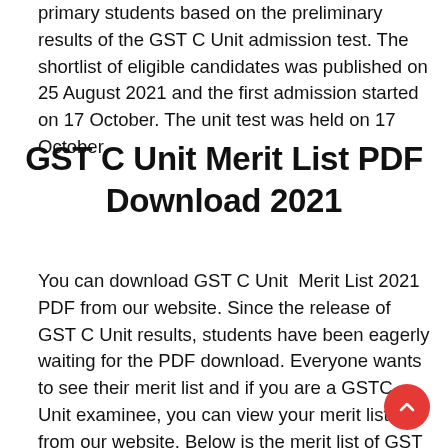primary students based on the preliminary results of the GST C Unit admission test. The shortlist of eligible candidates was published on 25 August 2021 and the first admission started on 17 October. The unit test was held on 17 October.
GST C Unit Merit List PDF Download 2021
You can download GST C Unit Merit List 2021 PDF from our website. Since the release of GST C Unit results, students have been eagerly waiting for the PDF download. Everyone wants to see their merit list and if you are a GSTC Unit examinee, you can view your merit list from our website. Below is the merit list of GST B and C units. The students are very happy because there is no pass in GST. Everyone is getting an equal opportunity and GST admission is being